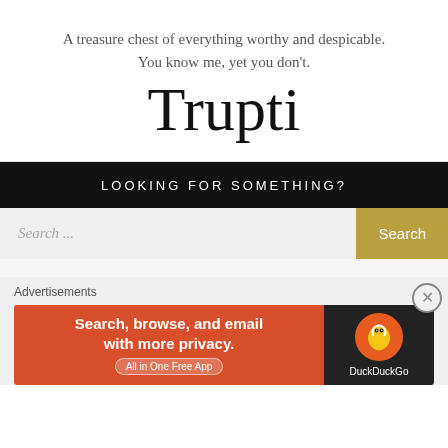A treasure chest of everything worthy and despicable.
You know me, yet you don't.
Trupti
LOOKING FOR SOMETHING?
Search ...
Advertisements
[Figure (screenshot): DuckDuckGo advertisement banner: orange/red background with text 'Search, browse, and email with more privacy. All in One Free App' and DuckDuckGo logo on dark background.]